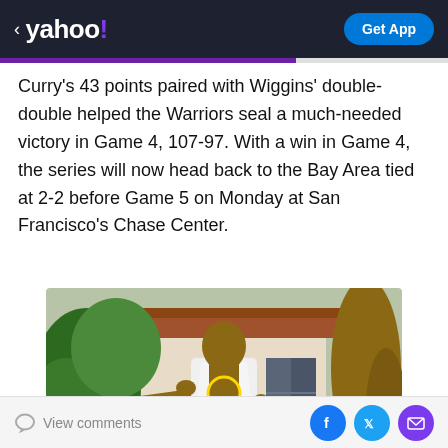< yahoo! | Get App
Curry's 43 points paired with Wiggins' double-double helped the Warriors seal a much-needed victory in Game 4, 107-97. With a win in Game 4, the series will now head back to the Bay Area tied at 2-2 before Game 5 on Monday at San Francisco's Chase Center.
[Figure (photo): Man in white shirt with gold chains spreading arms wide, standing in front of tropical foliage and a building. Yahoo Fantasy advertisement image.]
yahoo!fantasy
Play fantasy football
View comments | Facebook share | Twitter share | Email share